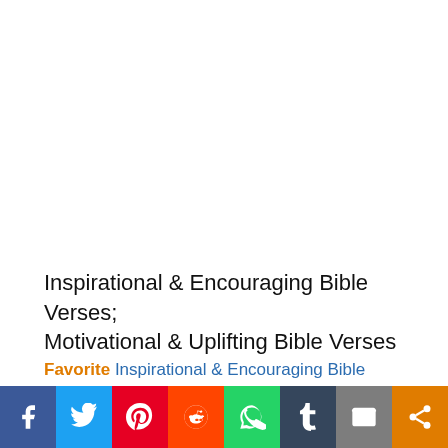Inspirational & Encouraging Bible Verses; Motivational & Uplifting Bible Verses
Favorite Inspirational & Encouraging Bible Verses
[Figure (infographic): Social sharing bar with icons for Facebook, Twitter, Pinterest, Reddit, WhatsApp, Tumblr, Email, and Share]